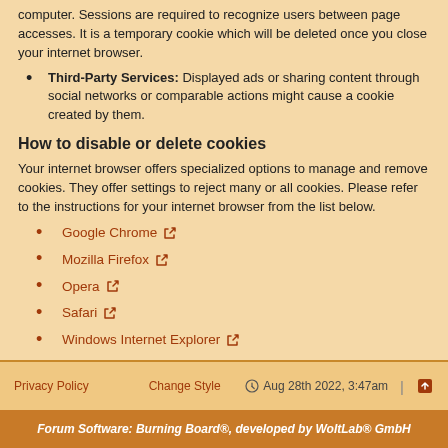computer. Sessions are required to recognize users between page accesses. It is a temporary cookie which will be deleted once you close your internet browser.
Third-Party Services: Displayed ads or sharing content through social networks or comparable actions might cause a cookie created by them.
How to disable or delete cookies
Your internet browser offers specialized options to manage and remove cookies. They offer settings to reject many or all cookies. Please refer to the instructions for your internet browser from the list below.
Google Chrome
Mozilla Firefox
Opera
Safari
Windows Internet Explorer
Privacy Policy   Change Style   Aug 28th 2022, 3:47am
Forum Software: Burning Board®, developed by WoltLab® GmbH